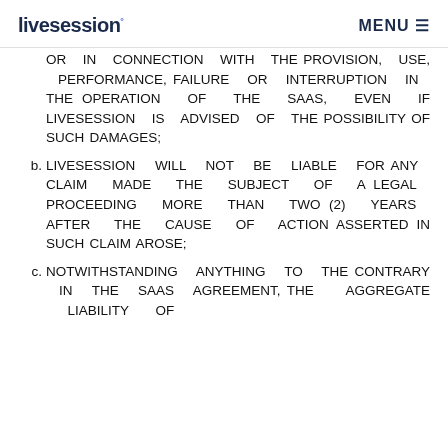livesession° MENU ≡
OR IN CONNECTION WITH THE PROVISION, USE, PERFORMANCE, FAILURE OR INTERRUPTION IN THE OPERATION OF THE SAAS, EVEN IF LIVESESSION IS ADVISED OF THE POSSIBILITY OF SUCH DAMAGES;
b. LIVESESSION WILL NOT BE LIABLE FOR ANY CLAIM MADE THE SUBJECT OF A LEGAL PROCEEDING MORE THAN TWO (2) YEARS AFTER THE CAUSE OF ACTION ASSERTED IN SUCH CLAIM AROSE;
c. NOTWITHSTANDING ANYTHING TO THE CONTRARY IN THE SAAS AGREEMENT, THE AGGREGATE LIABILITY OF